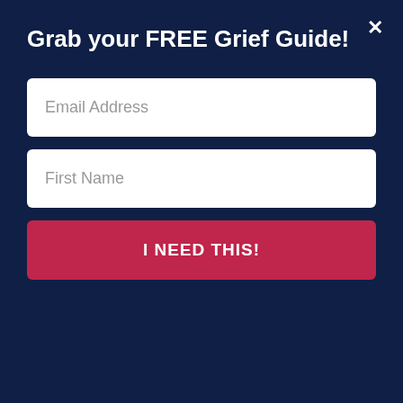Grab your FREE Grief Guide!
[Figure (screenshot): Modal popup with dark navy background containing email address input field, first name input field, and a crimson 'I NEED THIS!' submit button. A close (X) button appears in the top right corner.]
please pass this on to a friend or share on social media. I do feel an urgency and a prompting that we need to anoint our homes this week.
Drop any questions in the comments below. I get